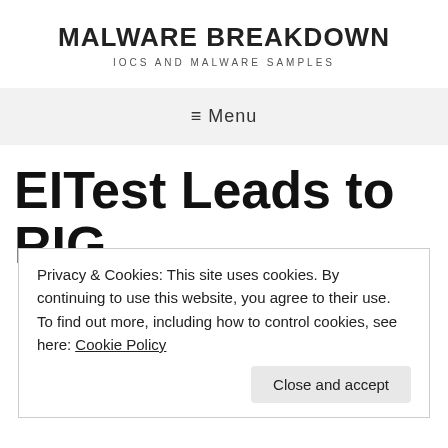MALWARE BREAKDOWN
IOCS AND MALWARE SAMPLES
≡ Menu
EITest Leads to RIG
Privacy & Cookies: This site uses cookies. By continuing to use this website, you agree to their use.
To find out more, including how to control cookies, see here: Cookie Policy
Close and accept